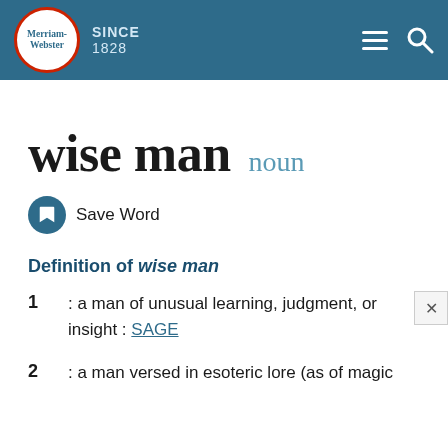Merriam-Webster SINCE 1828
wise man  noun
Save Word
Definition of wise man
1 : a man of unusual learning, judgment, or insight : SAGE
2 : a man versed in esoteric lore (as of magic